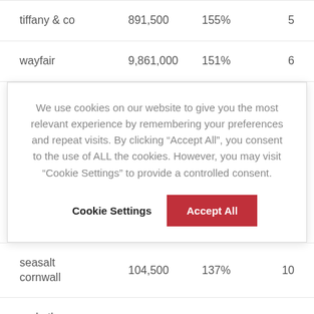| Brand | Volume | Growth | Rank |
| --- | --- | --- | --- |
| tiffany & co | 891,500 | 155% | 5 |
| wayfair | 9,861,000 | 151% | 6 |
| seasalt cornwall | 104,500 | 137% | 10 |
| and other | ... | ... | ... |
We use cookies on our website to give you the most relevant experience by remembering your preferences and repeat visits. By clicking “Accept All”, you consent to the use of ALL the cookies. However, you may visit “Cookie Settings” to provide a controlled consent.